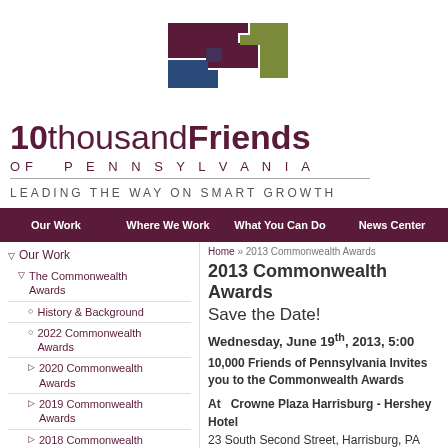[Figure (logo): 10,000 Friends of Pennsylvania puzzle-piece logo in purple, blue, and olive green forming the shape of Pennsylvania]
10thousand Friends OF PENNSYLVANIA — LEADING THE WAY ON SMART GROWTH
Our Work | Where We Work | What You Can Do | News Center
Our Work
The Commonwealth Awards
History & Background
2022 Commonwealth Awards
2020 Commonwealth Awards
2019 Commonwealth Awards
2018 Commonwealth Awards
2017 Commonwealth Awards
Home » 2013 Commonwealth Awards
2013 Commonwealth Awards
Save the Date!
Wednesday, June 19th, 2013, 5:00
10,000 Friends of Pennsylvania Invites you to the Commonwealth Awards
At  Crowne Plaza Harrisburg - Hershey Hotel 23 South Second Street, Harrisburg, PA 17101
Mark C. Schneider Memorial Friend of P...